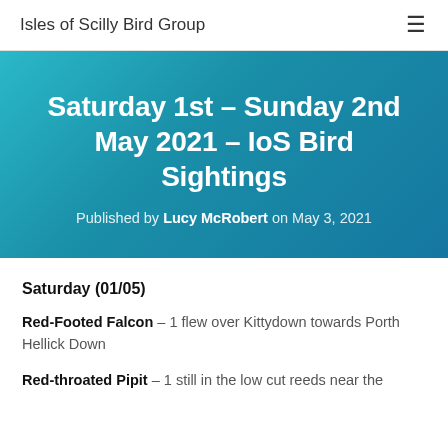Isles of Scilly Bird Group
Saturday 1st – Sunday 2nd May 2021 – IoS Bird Sightings
Published by Lucy McRobert on May 3, 2021
Saturday (01/05)
Red-Footed Falcon – 1 flew over Kittydown towards Porth Hellick Down
Red-throated Pipit – 1 still in the low cut reeds near the